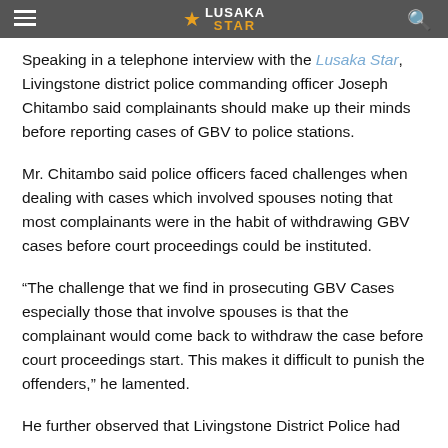LUSAKA STAR
Speaking in a telephone interview with the Lusaka Star, Livingstone district police commanding officer Joseph Chitambo said complainants should make up their minds before reporting cases of GBV to police stations.
Mr. Chitambo said police officers faced challenges when dealing with cases which involved spouses noting that most complainants were in the habit of withdrawing GBV cases before court proceedings could be instituted.
“The challenge that we find in prosecuting GBV Cases especially those that involve spouses is that the complainant would come back to withdraw the case before court proceedings start. This makes it difficult to punish the offenders,” he lamented.
He further observed that Livingstone District Police had